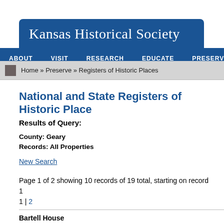Kansas Historical Society
ABOUT  VISIT  RESEARCH  EDUCATE  PRESERVE
Home » Preserve » Registers of Historic Places
National and State Registers of Historic Places
Results of Query:
County: Geary
Records: All Properties
New Search
Page 1 of 2 showing 10 records of 19 total, starting on record 1
1 | 2
Bartell House